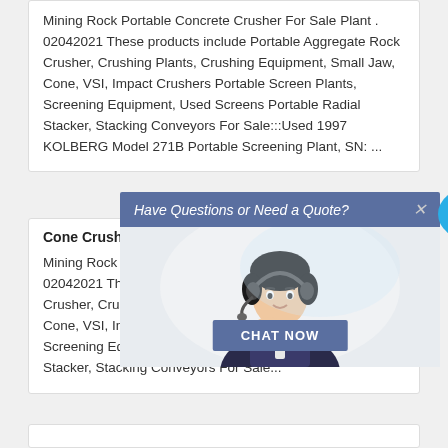Mining Rock Portable Concrete Crusher For Sale Plant . 02042021 These products include Portable Aggregate Rock Crusher, Crushing Plants, Crushing Equipment, Small Jaw, Cone, VSI, Impact Crushers Portable Screen Plants, Screening Equipment, Used Screens Portable Radial Stacker, Stacking Conveyors For Sale:::Used 1997 KOLBERG Model 271B Portable Screening Plant, SN: ...
[Figure (screenshot): Live chat popup with a customer service representative. Header reads 'Have Questions or Need a Quote?' with a close X button. Body shows a woman with headset. A blue 'CHAT NOW' button is visible. A 'Live Chat' speech bubble appears to the right.]
Cone Crusher Best Cone Crusher Sale In Singapore,
Mining Rock Portable Concrete Crusher For Sale Plant . 02042021 These products include Portable Aggregate Rock Crusher, Crushing Plants, Crushing Equipment, Small Jaw, Cone, VSI, Impact Crushers Portable Screen Plants, Screening Equipment, Used Screens Portable Radial Stacker, Stacking Conveyors For Sale...